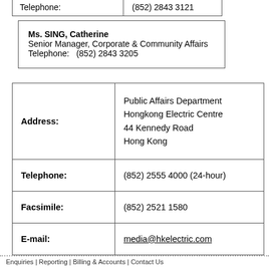| Telephone: | (852) 2843 3121 |
Ms. SING, Catherine
Senior Manager, Corporate & Community Affairs
Telephone: (852) 2843 3205
| Address: | Public Affairs Department
Hongkong Electric Centre
44 Kennedy Road
Hong Kong |
| Telephone: | (852) 2555 4000 (24-hour) |
| Facsimile: | (852) 2521 1580 |
| E-mail: | media@hkelectric.com |
Enquiries | Reporting | Billing & Accounts | Contact Us